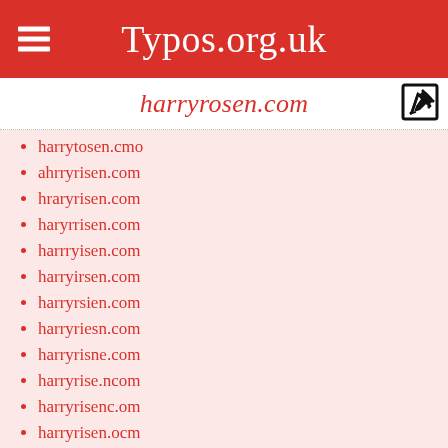Typos.org.uk
harryrosen.com
harrytosen.cmo
ahrryrisen.com
hraryrisen.com
haryrrisen.com
harrryisen.com
harryirsen.com
harryrsien.com
harryriesn.com
harryrisne.com
harryrise.ncom
harryrisenc.om
harryrisen.ocm
harryrisen.cmo
ahrryrpsen.com
hraryrpsen.com
haryrrpsen.com
harrrypsen.com
harryprsen.com
harryrspen.com
harryrpesn.com